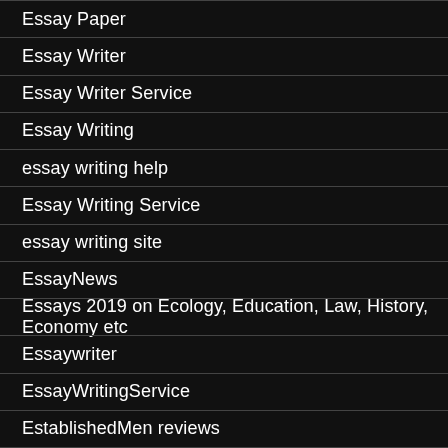Essay Paper
Essay Writer
Essay Writer Service
Essay Writing
essay writing help
Essay Writing Service
essay writing site
EssayNews
Essays 2019 on Ecology, Education, Law, History, Economy etc
Essaywriter
EssayWritingService
EstablishedMen reviews